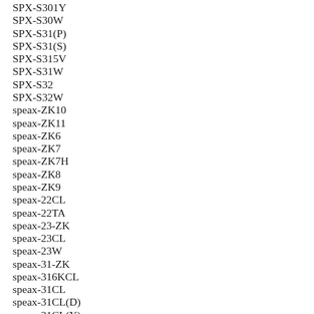SPX-S301Y
SPX-S30W
SPX-S31(P)
SPX-S31(S)
SPX-S315V
SPX-S31W
SPX-S32
SPX-S32W
speax-ZK10
speax-ZK11
speax-ZK6
speax-ZK7
speax-ZK7H
speax-ZK8
speax-ZK9
speax-22CL
speax-22TA
speax-23-ZK
speax-23CL
speax-23W
speax-31-ZK
speax-316KCL
speax-31CL
speax-31CL(D)
speax-31CL(Y)